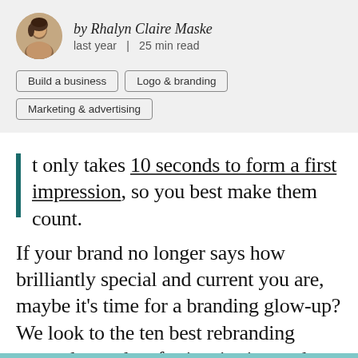by Rhalyn Claire Maske
last year  |  25 min read
Build a business
Logo & branding
Marketing & advertising
It only takes 10 seconds to form a first impression, so you best make them count. If your brand no longer says how brilliantly special and current you are, maybe it's time for a branding glow-up? We look to the ten best rebranding examples to date for inspiration and work out exactly what it takes to pull it off.